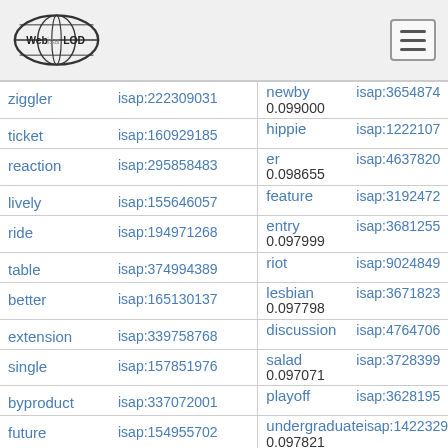Web isa LOD
| word | isap-id | related-word | score | isap-id-right |
| --- | --- | --- | --- | --- |
| ziggler | isap:222309031 | newby
0.099000 | isap:3654874 |
| ticket | isap:160929185 | hippie | isap:1222107 |
| reaction | isap:295858483 | er
0.098655 | isap:4637820 |
| lively | isap:155646057 | feature | isap:3192472 |
| ride | isap:194971268 | entry
0.097999 | isap:3681255 |
| table | isap:374994389 | riot | isap:9024849 |
| better | isap:165130137 | lesbian
0.097798 | isap:3671823 |
| extension | isap:339758768 | discussion | isap:4764706 |
| single | isap:157851976 | salad
0.097071 | isap:3728399 |
| byproduct | isap:337072001 | playoff | isap:3628195 |
| future | isap:154955702 | undergraduate
0.097821 | isap:1422329 |